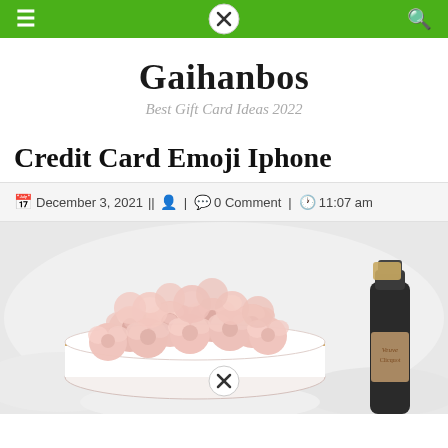Gaihanbos — Best Gift Card Ideas 2022 (navigation bar)
Gaihanbos
Best Gift Card Ideas 2022
Credit Card Emoji Iphone
December 3, 2021 || 🧑 | 💬 0 Comment | 🕐 11:07 am
[Figure (photo): A round white gift box filled with light pink artificial roses, next to a bottle of champagne/wine, placed on a white fluffy surface.]